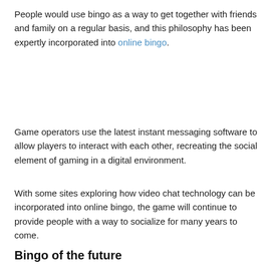People would use bingo as a way to get together with friends and family on a regular basis, and this philosophy has been expertly incorporated into online bingo.
Game operators use the latest instant messaging software to allow players to interact with each other, recreating the social element of gaming in a digital environment.
With some sites exploring how video chat technology can be incorporated into online bingo, the game will continue to provide people with a way to socialize for many years to come.
Bingo of the future